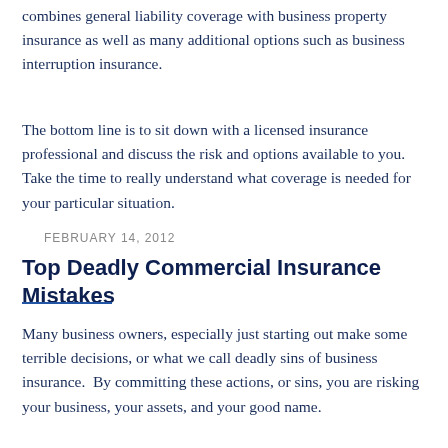combines general liability coverage with business property insurance as well as many additional options such as business interruption insurance.
The bottom line is to sit down with a licensed insurance professional and discuss the risk and options available to you.  Take the time to really understand what coverage is needed for your particular situation.
FEBRUARY 14, 2012
Top Deadly Commercial Insurance Mistakes
Many business owners, especially just starting out make some terrible decisions, or what we call deadly sins of business insurance.  By committing these actions, or sins, you are risking your business, your assets, and your good name.